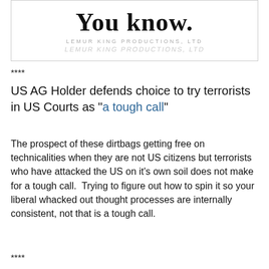[Figure (logo): Logo box with large bold serif text 'You know.' and subtitle 'LEMUR KING PRODUCTIONS, LTD' with watermark text below]
****
US AG Holder defends choice to try terrorists in US Courts as "a tough call"
The prospect of these dirtbags getting free on technicalities when they are not US citizens but terrorists who have attacked the US on it's own soil does not make for a tough call.  Trying to figure out how to spin it so your liberal whacked out thought processes are internally consistent, not that is a tough call.
****